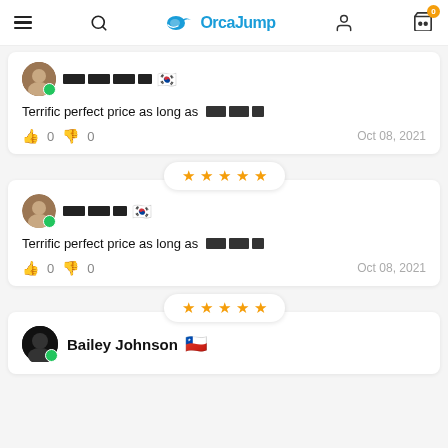OrcaJump
Terrific perfect price as long as [redacted]
0  0   Oct 08, 2021
[Figure (other): 5 gold stars rating pill]
Terrific perfect price as long as [redacted]
0  0   Oct 08, 2021
[Figure (other): 5 gold stars rating pill]
Bailey Johnson 🇨🇱